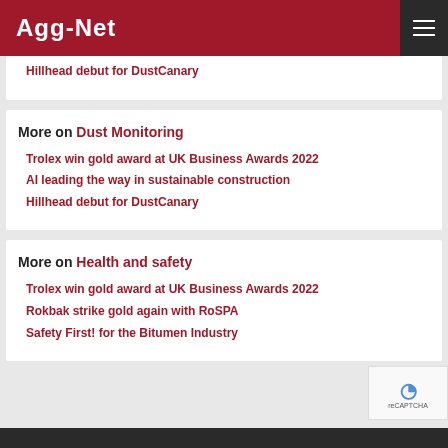Agg-Net
Hillhead debut for DustCanary
More on Dust Monitoring
Trolex win gold award at UK Business Awards 2022
AI leading the way in sustainable construction
Hillhead debut for DustCanary
More on Health and safety
Trolex win gold award at UK Business Awards 2022
Rokbak strike gold again with RoSPA
Safety First! for the Bitumen Industry